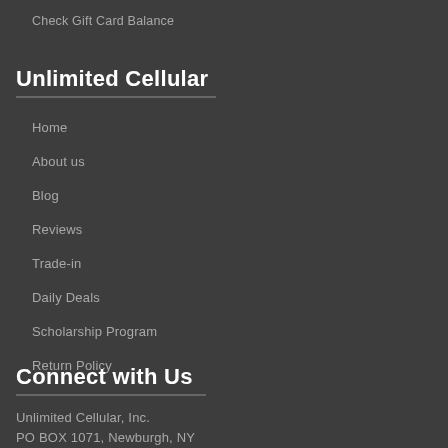Check Gift Card Balance
Unlimited Cellular
Home
About us
Blog
Reviews
Trade-in
Daily Deals
Scholarship Program
Return Policy
Connect with Us
Unlimited Cellular, Inc.
PO BOX 1071, Newburgh, NY